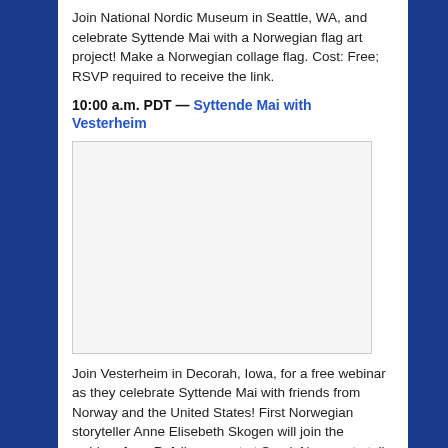Join National Nordic Museum in Seattle, WA, and celebrate Syttende Mai with a Norwegian flag art project! Make a Norwegian collage flag. Cost: Free; RSVP required to receive the link.
10:00 a.m. PDT — Syttende Mai with Vesterheim
[Figure (photo): Blank/placeholder image for Syttende Mai with Vesterheim event]
Join Vesterheim in Decorah, Iowa, for a free webinar as they celebrate Syttende Mai with friends from Norway and the United States! First Norwegian storyteller Anne Elisebeth Skogen will join the webinar from Ryfylkemuseet at Sand, Norway, to tell the story